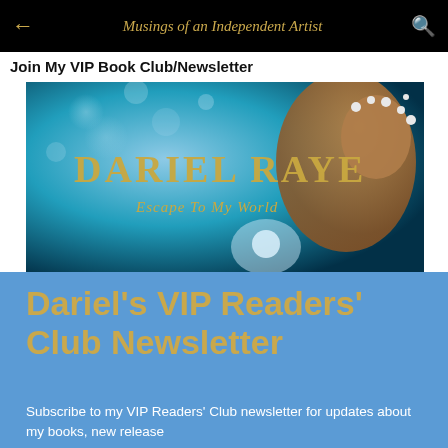Musings of an Independent Artist
Join My VIP Book Club/Newsletter
[Figure (illustration): Dariel Raye author banner with golden logo text reading 'DARIEL RAYE' and subtitle 'Escape To My World', featuring a glamorous woman with pearls and snowflake backdrop]
Dariel's VIP Readers' Club Newsletter
Subscribe to my VIP Readers' Club newsletter for updates about my books, new release